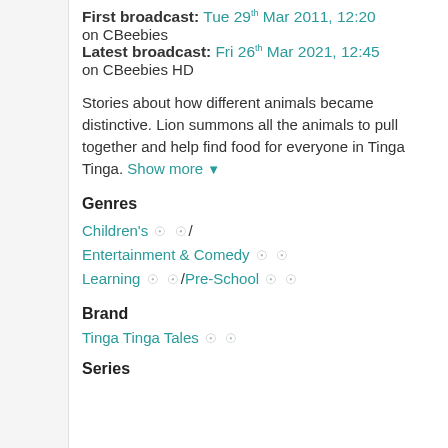First broadcast: Tue 29th Mar 2011, 12:20 on CBeebies
Latest broadcast: Fri 26th Mar 2021, 12:45 on CBeebies HD
Stories about how different animals became distinctive. Lion summons all the animals to pull together and help find food for everyone in Tinga Tinga. Show more ▼
Genres
Children's / Entertainment & Comedy Learning / Pre-School
Brand
Tinga Tinga Tales
Series